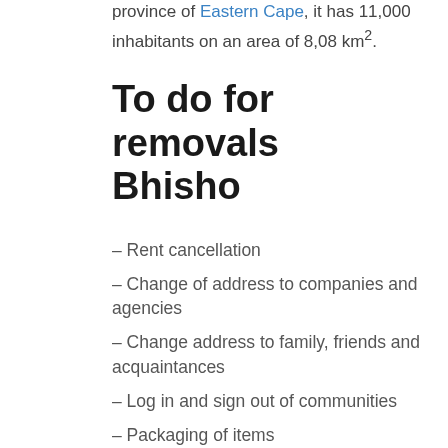province of Eastern Cape, it has 11,000 inhabitants on an area of 8,08 km².
To do for removals Bhisho
– Rent cancellation
– Change of address to companies and agencies
– Change address to family, friends and acquaintances
– Log in and sign out of communities
– Packaging of items
– Move your items to the new house